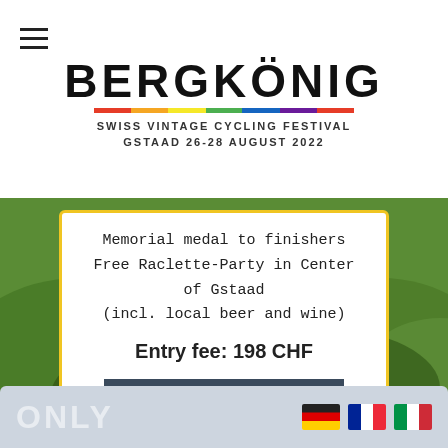[Figure (logo): Bergkönig Swiss Vintage Cycling Festival logo with rainbow stripe and text 'SWISS VINTAGE CYCLING FESTIVAL GSTAAD 26-28 AUGUST 2022']
Memorial medal to finishers
Free Raclette-Party in Center of Gstaad
(incl. local beer and wine)
Entry fee: 198 CHF
REGISTER NOW
[Figure (photo): Aerial/landscape photo of mountain road through green alpine hills]
ONLY
[Figure (illustration): German, French, and Italian flag icons]